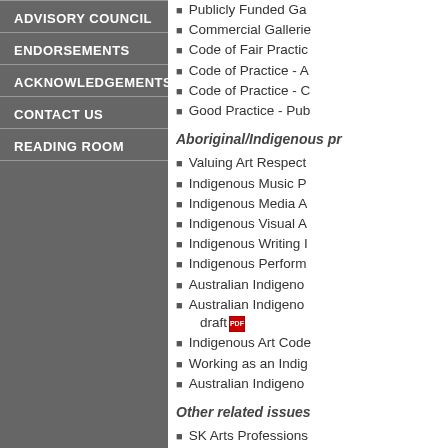ADVISORY COUNCIL
ENDORSEMENTS
ACKNOWLEDGEMENTS
CONTACT US
READING ROOM
Publicly Funded Ga
Commercial Gallerie
Code of Fair Practic
Code of Practice - A
Code of Practice - C
Good Practice - Pub
Aboriginal/Indigenous pr
Valuing Art Respect
Indigenous Music P
Indigenous Media A
Indigenous Visual A
Indigenous Writing I
Indigenous Perform
Australian Indigeno
Australian Indigeno... draft
Indigenous Art Code
Working as an Indig
Australian Indigeno
Other related issues
SK Arts Professions
Checklist For Writte